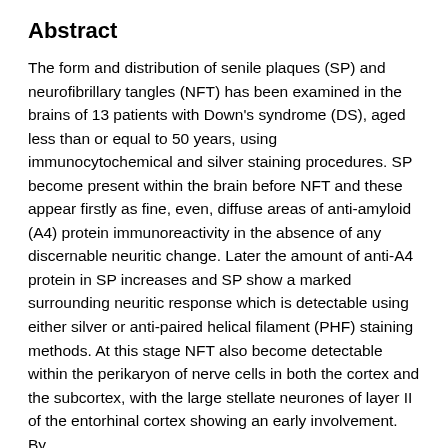Abstract
The form and distribution of senile plaques (SP) and neurofibrillary tangles (NFT) has been examined in the brains of 13 patients with Down's syndrome (DS), aged less than or equal to 50 years, using immunocytochemical and silver staining procedures. SP become present within the brain before NFT and these appear firstly as fine, even, diffuse areas of anti-amyloid (A4) protein immunoreactivity in the absence of any discernable neuritic change. Later the amount of anti-A4 protein in SP increases and SP show a marked surrounding neuritic response which is detectable using either silver or anti-paired helical filament (PHF) staining methods. At this stage NFT also become detectable within the perikaryon of nerve cells in both the cortex and the subcortex, with the large stellate neurones of layer II of the entorhinal cortex showing an early involvement. By the age of 50...